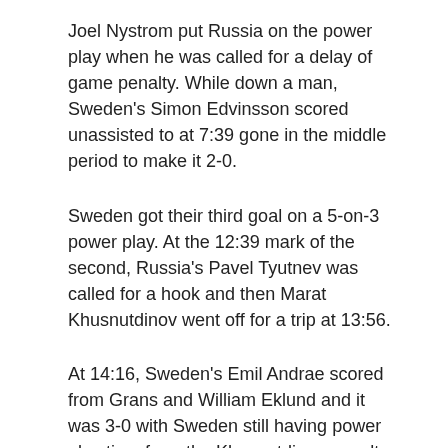Joel Nystrom put Russia on the power play when he was called for a delay of game penalty. While down a man, Sweden's Simon Edvinsson scored unassisted to at 7:39 gone in the middle period to make it 2-0.
Sweden got their third goal on a 5-on-3 power play. At the 12:39 mark of the second, Russia's Pavel Tyutnev was called for a hook and then Marat Khusnutdinov went off for a trip at 13:56.
At 14:16, Sweden's Emil Andrae scored from Grans and William Eklund and it was 3-0 with Sweden still having power play time from the Khusnutdinov penalty.
The Russians would kill that off and, in fact, would finally get on the board before the end of the second.
Fyodor Svechkov scored from Nikita Chibrikov and Kirill